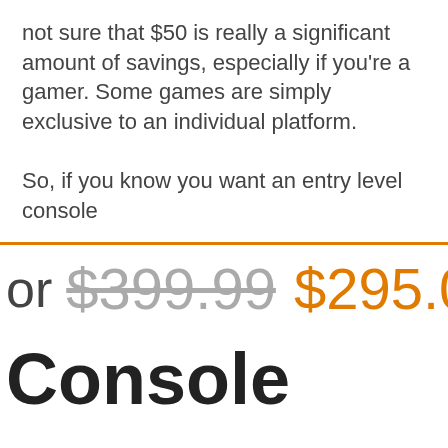not sure that $50 is really a significant amount of savings, especially if you're a gamer. Some games are simply exclusive to an individual platform.
So, if you know you want an entry level console
or $399.99 $295.0
Console